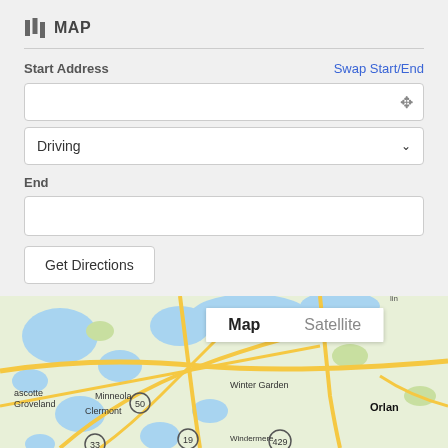MAP
Start Address
Swap Start/End
Driving
End
Get Directions
[Figure (map): Google Maps view showing central Florida area including Groveland, Minneola, Clermont, Winter Garden, and Orlando with road network. Map/Satellite toggle visible.]